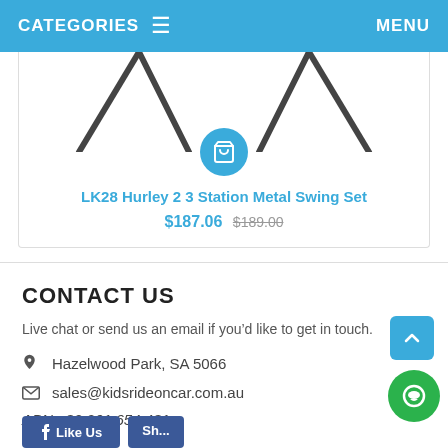CATEGORIES  ≡   MENU
[Figure (photo): Partial view of a metal swing set product image showing the top legs of the frame]
LK28 Hurley 2 3 Station Metal Swing Set
$187.06  $189.00
CONTACT US
Live chat or send us an email if you’d like to get in touch.
Hazelwood Park, SA 5066
sales@kidsrideoncar.com.au
ABN : 32 261 654 431